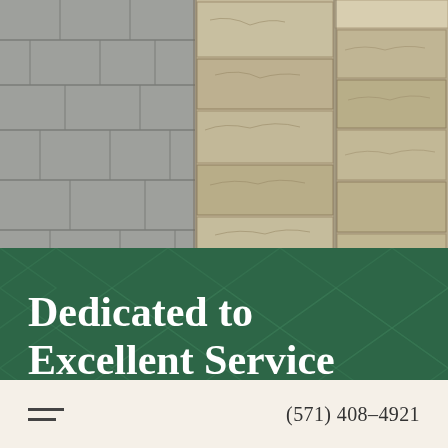[Figure (photo): Close-up photograph of a stone masonry pillar/column corner with textured stone blocks and a stone-paved surface in the background on the left side]
Dedicated to Excellent Service
(571) 408-4921